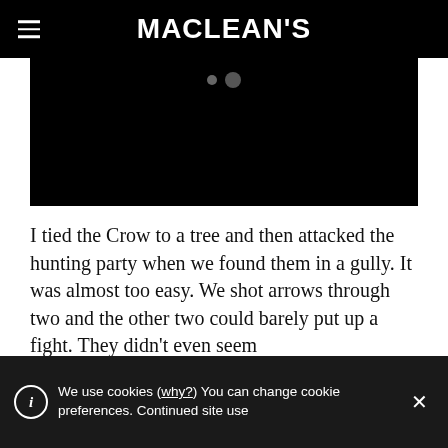MACLEAN'S
[Figure (photo): Black hero image area with two dots (carousel indicators) visible near the top center]
I tied the Crow to a tree and then attacked the hunting party when we found them in a gully. It was almost too easy. We shot arrows through two and the other two could barely put up a fight. They didn't even seem to... [text continues]
We use cookies (why?) You can change cookie preferences. Continued site use